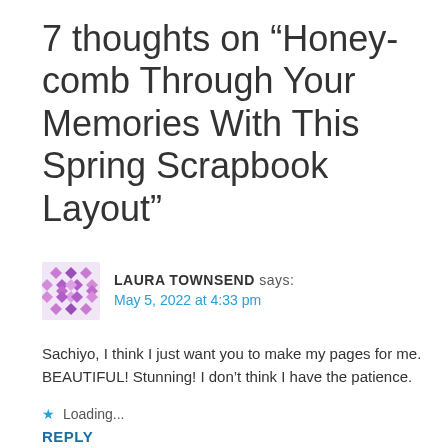7 thoughts on “Honey-comb Through Your Memories With This Spring Scrapbook Layout”
[Figure (illustration): Purple decorative avatar icon with diamond/cross pattern in shades of purple and pink]
LAURA TOWNSEND says:
May 5, 2022 at 4:33 pm
Sachiyo, I think I just want you to make my pages for me. BEAUTIFUL! Stunning! I don’t think I have the patience.
★ Loading...
REPLY